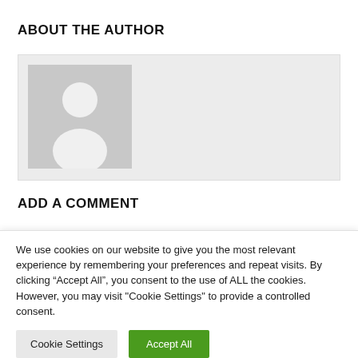ABOUT THE AUTHOR
[Figure (illustration): Gray placeholder author avatar box with a generic person silhouette icon (white circle for head, white rounded shape for body) on a gray background]
ADD A COMMENT
We use cookies on our website to give you the most relevant experience by remembering your preferences and repeat visits. By clicking “Accept All”, you consent to the use of ALL the cookies. However, you may visit "Cookie Settings" to provide a controlled consent.
Cookie Settings | Accept All